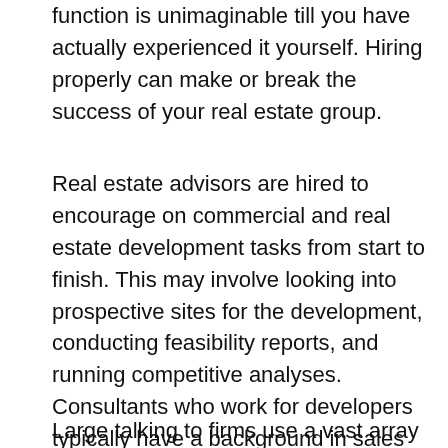function is unimaginable till you have actually experienced it yourself. Hiring properly can make or break the success of your real estate group.
Real estate advisors are hired to encourage on commercial and real estate development tasks from start to finish. This may involve looking into prospective sites for the development, conducting feasibility reports, and running competitive analyses. Consultants who work for developers typically have a background in sales or marketing. Developers seek to consultants to provide insight into buyer trends to produce a property that is both competitive and uncommon in the market. Some real estate consultants likewise deal with interior designers.
Large talking to firms use a vast array of services to help identify the prospects for development and to